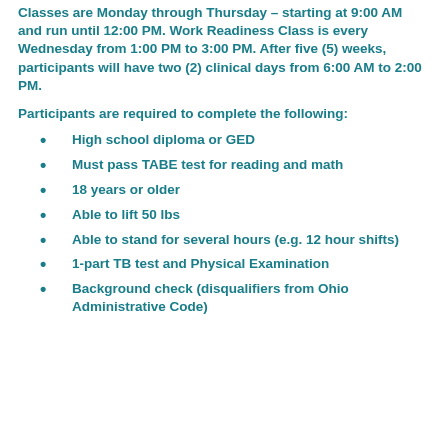Classes are Monday through Thursday – starting at 9:00 AM and run until 12:00 PM. Work Readiness Class is every Wednesday from 1:00 PM to 3:00 PM. After five (5) weeks, participants will have two (2) clinical days from 6:00 AM to 2:00 PM.
Participants are required to complete the following:
High school diploma or GED
Must pass TABE test for reading and math
18 years or older
Able to lift 50 lbs
Able to stand for several hours (e.g. 12 hour shifts)
1-part TB test and Physical Examination
Background check (disqualifiers from Ohio Administrative Code)